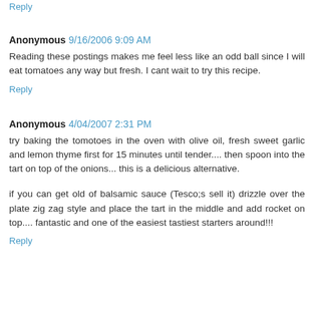Reply
Anonymous  9/16/2006 9:09 AM
Reading these postings makes me feel less like an odd ball since I will eat tomatoes any way but fresh. I cant wait to try this recipe.
Reply
Anonymous  4/04/2007 2:31 PM
try baking the tomotoes in the oven with olive oil, fresh sweet garlic and lemon thyme first for 15 minutes until tender.... then spoon into the tart on top of the onions... this is a delicious alternative.
if you can get old of balsamic sauce (Tesco;s sell it) drizzle over the plate zig zag style and place the tart in the middle and add rocket on top.... fantastic and one of the easiest tastiest starters around!!!
Reply